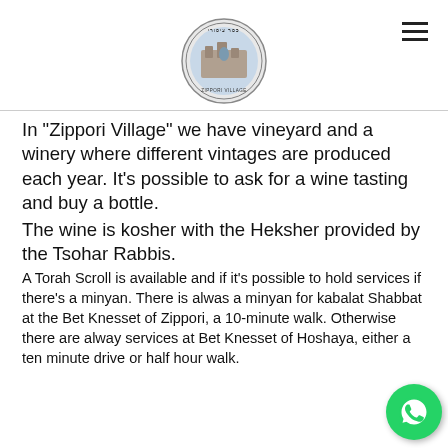[Figure (logo): Zippori Village circular logo with Hebrew text and illustration of ancient ruins]
In “Zippori Village” we have vineyard and a winery where different vintages are produced each year. It’s possible to ask for a wine tasting and buy a bottle.
The wine is kosher with the Heksher provided by the Tsohar Rabbis.
A Torah Scroll is available and if it’s possible to hold services if there’s a minyan. There is alwas a minyan for kabalat Shabbat at the Bet Knesset of Zippori, a 10-minute walk. Otherwise there are alway services at Bet Knesset of Hoshaya, either a ten minute drive or half hour walk.